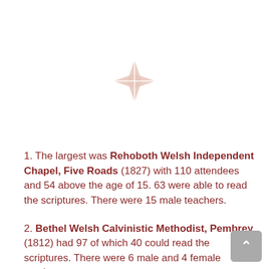[Figure (logo): A decorative diamond/rhombus shaped logo made of four petal-like shapes in a muted rose/pink color forming a cross pattern, centered near the top of the page.]
1. The largest was Rehoboth Welsh Independent Chapel, Five Roads (1827) with 110 attendees and 54 above the age of 15. 63 were able to read the scriptures. There were 15 male teachers.
2. Bethel Welsh Calvinistic Methodist, Pembrey (1812) had 97 of which 40 could read the scriptures. There were 6 male and 4 female teachers.